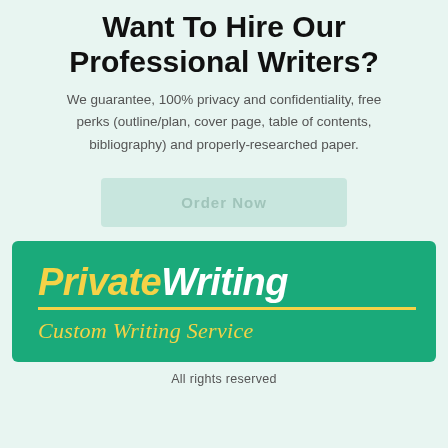Want To Hire Our Professional Writers?
We guarantee, 100% privacy and confidentiality, free perks (outline/plan, cover page, table of contents, bibliography) and properly-researched paper.
[Figure (logo): PrivateWriting Custom Writing Service logo on teal/green background]
All rights reserved